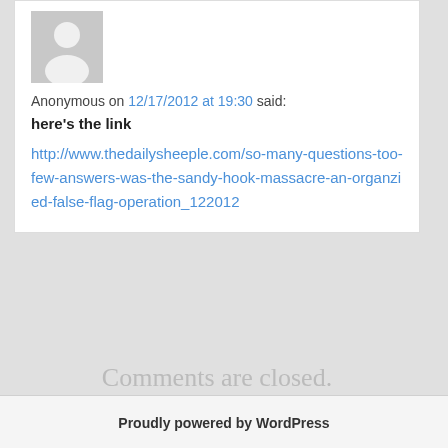[Figure (illustration): Anonymous user avatar - grey silhouette of a person on a light grey background]
Anonymous on 12/17/2012 at 19:30 said:
here's the link
http://www.thedailysheeple.com/so-many-questions-too-few-answers-was-the-sandy-hook-massacre-an-organzied-false-flag-operation_122012
Comments are closed.
Proudly powered by WordPress